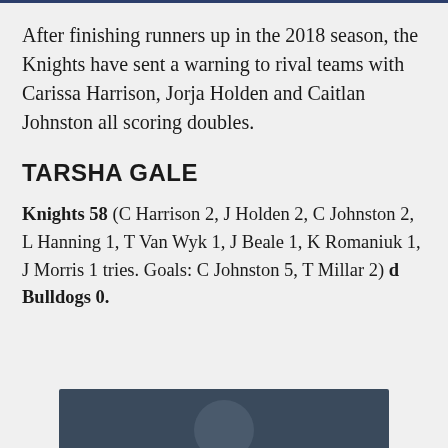After finishing runners up in the 2018 season, the Knights have sent a warning to rival teams with Carissa Harrison, Jorja Holden and Caitlan Johnston all scoring doubles.
TARSHA GALE
Knights 58 (C Harrison 2, J Holden 2, C Johnston 2, L Hanning 1, T Van Wyk 1, J Beale 1, K Romaniuk 1, J Morris 1 tries. Goals: C Johnston 5, T Millar 2) d Bulldogs 0.
[Figure (photo): Partial image visible at bottom of page, dark background with circular element]